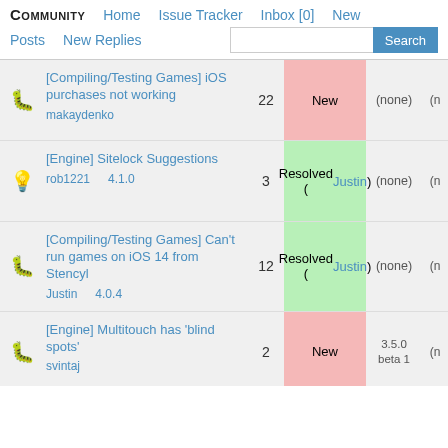COMMUNITY   Home   Issue Tracker   Inbox [0]   New
Posts   New Replies   Search
[Compiling/Testing Games] iOS purchases not working | makaydenko | 22 | New | (none) | (n...
[Engine] Sitelock Suggestions | rob1221 | 4.1.0 | 3 | Resolved (Justin) | (none) | (n...
[Compiling/Testing Games] Can't run games on iOS 14 from Stencyl | Justin | 4.0.4 | 12 | Resolved (Justin) | (none) | (n...
[Engine] Multitouch has 'blind spots' | svintaj | 2 | New | 3.5.0 beta 1 | (n...